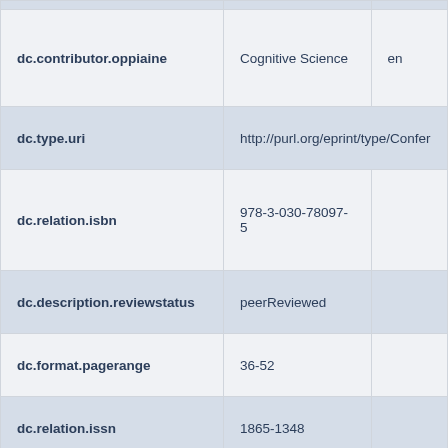| Field | Value | Language |
| --- | --- | --- |
| dc.contributor.oppiaine | Cognitive Science | en |
| dc.type.uri | http://purl.org/eprint/type/Confer |  |
| dc.relation.isbn | 978-3-030-78097-5 |  |
| dc.description.reviewstatus | peerReviewed |  |
| dc.format.pagerange | 36-52 |  |
| dc.relation.issn | 1865-1348 |  |